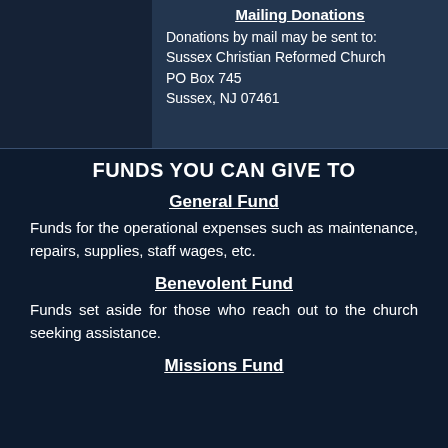Mailing Donations
Donations by mail may be sent to:
Sussex Christian Reformed Church
PO Box 745
Sussex, NJ 07461
FUNDS YOU CAN GIVE TO
General Fund
Funds for the operational expenses such as maintenance, repairs, supplies, staff wages, etc.
Benevolent Fund
Funds set aside for those who reach out to the church seeking assistance.
Missions Fund